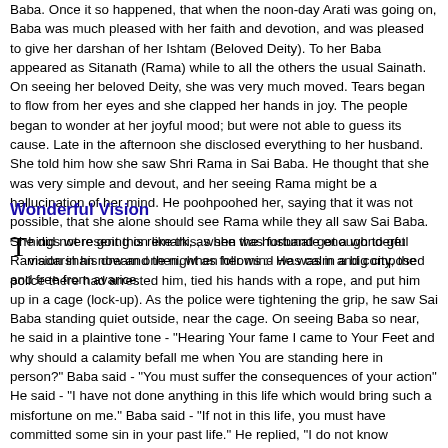Baba. Once it so happened, that when the noon-day Arati was going on, Baba was much pleased with her faith and devotion, and was pleased to give her darshan of her Ishtam (Beloved Deity). To her Baba appeared as Sitanath (Rama) while to all the others the usual Sainath. On seeing her beloved Deity, she was very much moved. Tears began to flow from her eyes and she clapped her hands in joy. The people began to wonder at her joyful mood; but were not able to guess its cause. Late in the afternoon she disclosed everything to her husband. She told him how she saw Shri Rama in Sai Baba. He thought that she was very simple and devout, and her seeing Rama might be a hallucination of her mind. He poohpoohed her, saying that it was not possible, that she alone should see Rama while they all saw Sai Baba. She did not resent this remark, as she was fortunate enough to get Ramadarshan now and then, when her mind was calm and composed and free from avarice.
Wonderful Vision
Things were going on like this, when the husband got a wonderful vision in his dream one night as follows :- He was in a big city, the police there had arrested him, tied his hands with a rope, and put him up in a cage (lock-up). As the police were tightening the grip, he saw Sai Baba standing quiet outside, near the cage. On seeing Baba so near, he said in a plaintive tone - "Hearing Your fame I came to Your Feet and why should a calamity befall me when You are standing here in person?" Baba said - "You must suffer the consequences of your action" He said - "I have not done anything in this life which would bring such a misfortune on me." Baba said - "If not in this life, you must have committed some sin in your past life." He replied, "I do not know anything of my past life, but assuming that I did commit some sin then, why should it not be burnt and destroyed in Your presence, as dry